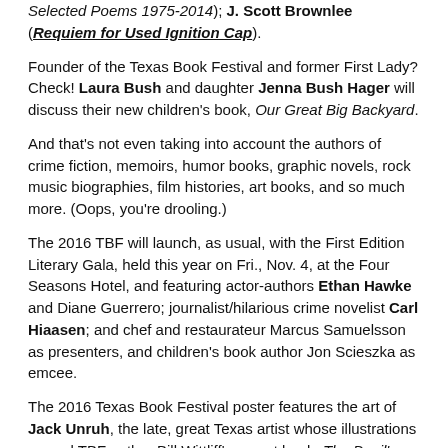Selected Poems 1975-2014); J. Scott Brownlee (Requiem for Used Ignition Cap).
Founder of the Texas Book Festival and former First Lady? Check! Laura Bush and daughter Jenna Bush Hager will discuss their new children's book, Our Great Big Backyard.
And that's not even taking into account the authors of crime fiction, memoirs, humor books, graphic novels, rock music biographies, film histories, art books, and so much more. (Oops, you're drooling.)
The 2016 TBF will launch, as usual, with the First Edition Literary Gala, held this year on Fri., Nov. 4, at the Four Seasons Hotel, and featuring actor-authors Ethan Hawke and Diane Guerrero; journalist/hilarious crime novelist Carl Hiaasen; and chef and restaurateur Marcus Samuelsson as presenters, and children's book author Jon Scieszka as emcee.
The 2016 Texas Book Festival poster features the art of Jack Unruh, the late, great Texas artist whose illustrations graced TBF author Bill Wittliff's recent book, The Devil's Backbone.
[Figure (illustration): A light pink/peach background box containing a partial view of what appears to be a framed illustration or book cover image at the bottom.]